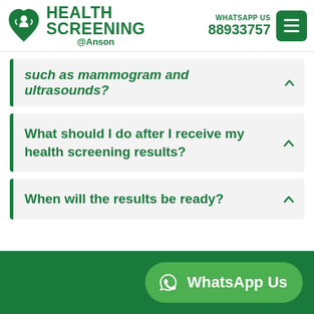[Figure (logo): Health Screening @Anson logo with green heart/person icon and text]
WHATSAPP US
88933757
such as mammogram and ultrasounds?
What should I do after I receive my health screening results?
When will the results be ready?
WhatsApp Us